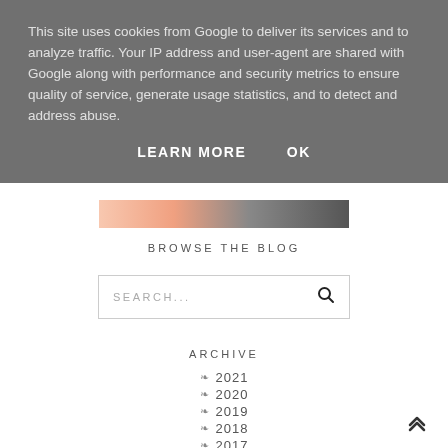This site uses cookies from Google to deliver its services and to analyze traffic. Your IP address and user-agent are shared with Google along with performance and security metrics to ensure quality of service, generate usage statistics, and to detect and address abuse.
LEARN MORE    OK
[Figure (photo): Partial blog header image with floral and pink background visible]
BROWSE THE BLOG
SEARCH...
ARCHIVE
2021
2020
2019
2018
2017